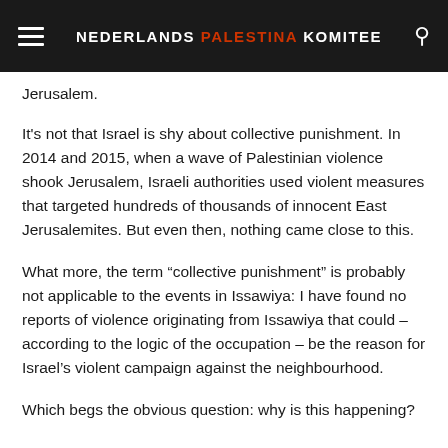NEDERLANDS PALESTINA KOMITEE
Jerusalem.
It's not that Israel is shy about collective punishment. In 2014 and 2015, when a wave of Palestinian violence shook Jerusalem, Israeli authorities used violent measures that targeted hundreds of thousands of innocent East Jerusalemites. But even then, nothing came close to this.
What more, the term “collective punishment” is probably not applicable to the events in Issawiya: I have found no reports of violence originating from Issawiya that could – according to the logic of the occupation – be the reason for Israel’s violent campaign against the neighbourhood.
Which begs the obvious question: why is this happening?